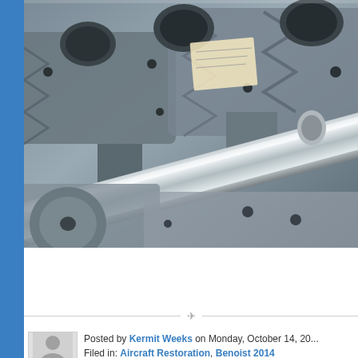[Figure (photo): Close-up photograph of machined aircraft engine parts — metal cylinder heads/castings and a polished steel crankshaft or camshaft laid across them, showing industrial machining detail.]
Posted by Kermit Weeks on Monday, October 14, 20... Filed in: Aircraft Restoration, Benoist 2014